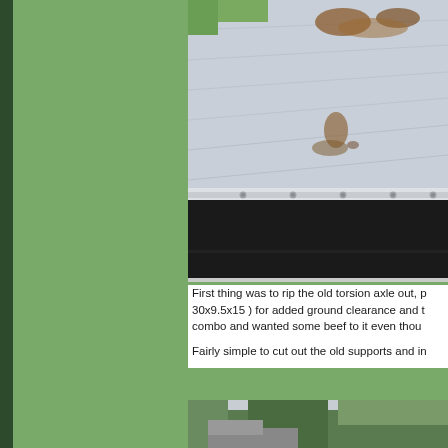[Figure (photo): Aerial/close-up view of a trailer or transport surface showing a white/grey textured surface (likely a trailer deck or tarp) with some rust/dirt spots and debris, separated by a metal edged border from a black asphalt or rubber surface below. Green grass visible at top left.]
First thing was to rip the old torsion axle out, p 30x9.5x15 ) for added ground clearance and t combo and wanted some beef to it even thou
Fairly simple to cut out the old supports and in
[Figure (photo): Partial view of a truck or vehicle with trees in background.]